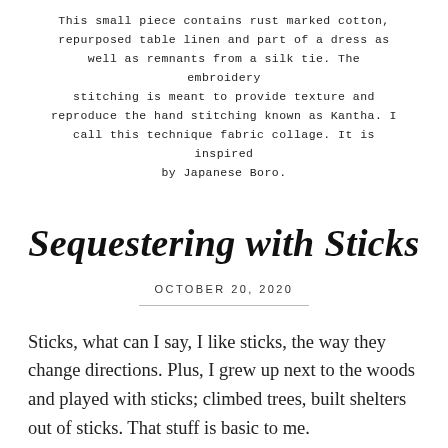This small piece contains rust marked cotton, repurposed table linen and part of a dress as well as remnants from a silk tie. The embroidery stitching is meant to provide texture and reproduce the hand stitching known as Kantha. I call this technique fabric collage. It is inspired by Japanese Boro.
Sequestering with Sticks
OCTOBER 20, 2020
Sticks, what can I say, I like sticks, the way they change directions. Plus, I grew up next to the woods and played with sticks; climbed trees, built shelters out of sticks. That stuff is basic to me.